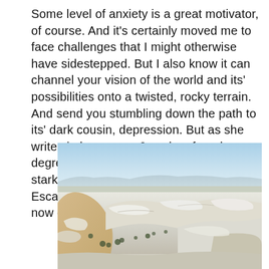Some level of anxiety is a great motivator, of course.  And it's certainly moved me to face challenges that I might otherwise have sidestepped.  But I also know it can channel your vision of the world and its' possibilities onto a twisted, rocky terrain.  And send you stumbling down the path to its' dark cousin, depression.  But as she writes in her essay, Jana has found some degree of solace and perspective in the stark vistas of the Grand Staircase Escalante National Monument, which she now calls her back yard.
[Figure (photo): Landscape photograph of the Grand Staircase Escalante National Monument showing snow-dusted rocky terrain, sandstone formations, scattered desert shrubs, and a wide panoramic view under a pale blue sky with distant mountains on the horizon.]